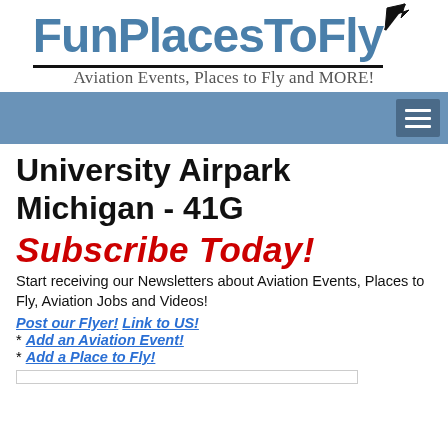[Figure (logo): FunPlacesToFly logo with bold blue stylized text and an arrow, with a black underline]
Aviation Events, Places to Fly and MORE!
[Figure (other): Blue navigation bar with hamburger menu icon on the right]
University Airpark Michigan - 41G
Subscribe Today!
Start receiving our Newsletters about Aviation Events, Places to Fly, Aviation Jobs and Videos!
Post our Flyer! Link to US!
* Add an Aviation Event!
* Add a Place to Fly!